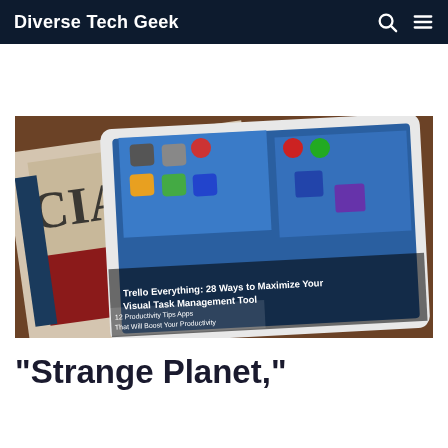Diverse Tech Geek
[Figure (photo): A tablet displaying a website with app icons and article headlines, resting on top of a folded newspaper on a wooden surface. The tablet screen shows a headline 'Trello Everything: 28 Ways to Maximize Your Visual Task Management Tool'.]
“Strange Planet,”